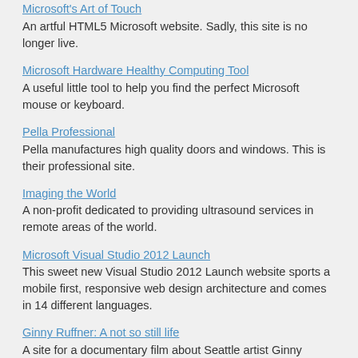Microsoft's Art of Touch
An artful HTML5 Microsoft website. Sadly, this site is no longer live.
Microsoft Hardware Healthy Computing Tool
A useful little tool to help you find the perfect Microsoft mouse or keyboard.
Pella Professional
Pella manufactures high quality doors and windows. This is their professional site.
Imaging the World
A non-profit dedicated to providing ultrasound services in remote areas of the world.
Microsoft Visual Studio 2012 Launch
This sweet new Visual Studio 2012 Launch website sports a mobile first, responsive web design architecture and comes in 14 different languages.
Ginny Ruffner: A not so still life
A site for a documentary film about Seattle artist Ginny Ruffner.